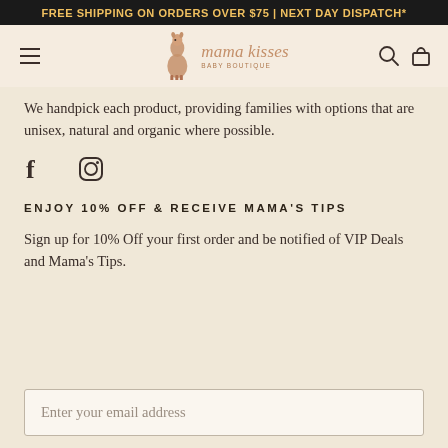FREE SHIPPING ON ORDERS OVER $75 | NEXT DAY DISPATCH*
[Figure (logo): Mama Kisses Baby Boutique logo with llama illustration]
We handpick each product, providing families with options that are unisex, natural and organic where possible.
[Figure (illustration): Social media icons: Facebook and Instagram]
ENJOY 10% OFF & RECEIVE MAMA'S TIPS
Sign up for 10% Off your first order and be notified of VIP Deals and Mama's Tips.
Enter your email address